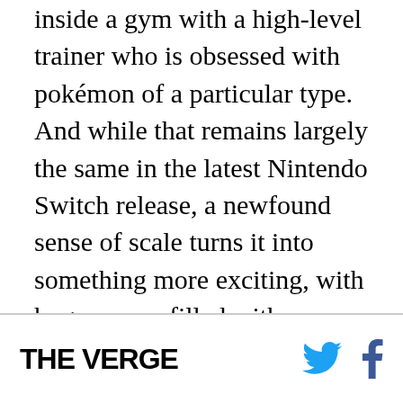inside a gym with a high-level trainer who is obsessed with pokémon of a particular type. And while that remains largely the same in the latest Nintendo Switch release, a newfound sense of scale turns it into something more exciting, with huge arenas filled with thousands of screaming fans while gigantic, holographic monsters do battle. This is the same Pokémon you know and love, but it's cranked up with a bigger world and more adventurous spirit.
THE VERGE